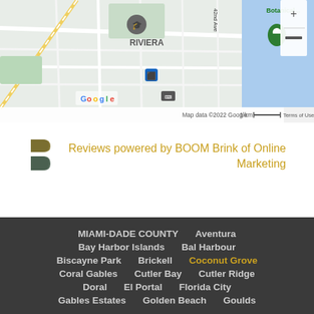[Figure (map): Google Maps screenshot showing Riviera area with Botanical Garden marker, bus stop icon, school icon, zoom controls, scale bar showing 1 km, Google logo, and attribution 'Map data ©2022 Google'. Blue water visible on right side.]
Reviews powered by BOOM Brink of Online Marketing
MIAMI-DADE COUNTY
Aventura
Bay Harbor Islands
Bal Harbour
Biscayne Park
Brickell
Coconut Grove
Coral Gables
Cutler Bay
Cutler Ridge
Doral
El Portal
Florida City
Gables Estates
Golden Beach
Goulds